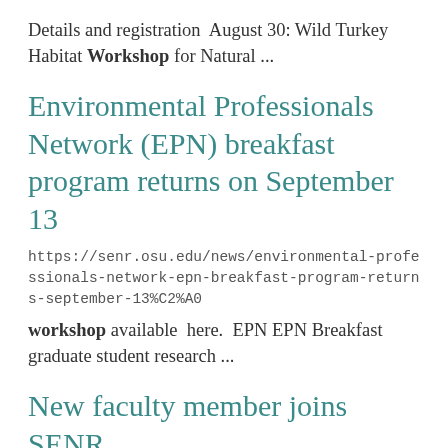Details and registration  August 30: Wild Turkey Habitat Workshop for Natural ...
Environmental Professionals Network (EPN) breakfast program returns on September 13
https://senr.osu.edu/news/environmental-professionals-network-epn-breakfast-program-returns-september-13%C2%A0
workshop available here.  EPN EPN Breakfast graduate student research ...
New faculty member joins SENR
https://senr.osu.edu/news/new-faculty-member-joins-senr
to explore urban greenspaces as valuable